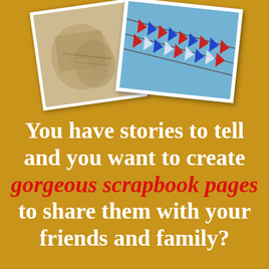[Figure (photo): Two overlapping polaroid-style photographs on a golden-yellow background. The left photo is sepia-toned showing hands holding something, rotated slightly counterclockwise. The right photo shows colorful triangular flags/bunting against a blue sky, rotated slightly clockwise. Both photos have white borders.]
You have stories to tell and you want to create gorgeous scrapbook pages to share them with your friends and family?